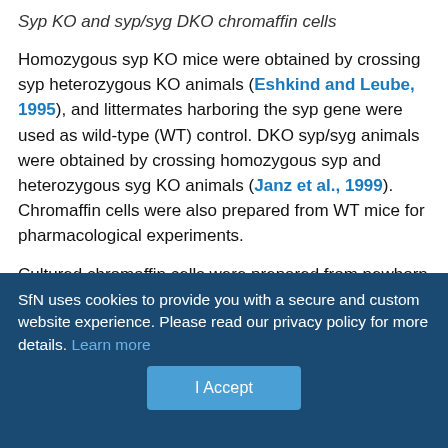Syp KO and syp/syg DKO chromaffin cells
Homozygous syp KO mice were obtained by crossing syp heterozygous KO animals (Eshkind and Leube, 1995), and littermates harboring the syp gene were used as wild-type (WT) control. DKO syp/syg animals were obtained by crossing homozygous syp and heterozygous syg KO animals (Janz et al., 1999). Chromaffin cells were also prepared from WT mice for pharmacological experiments.
Cultured chromaffin cells were prepared from newborn [postnatal day (P)0]pups. Fresh adrenal glands were dissected in ice cold HBSS and digested in DMEM containing 20 units of papain at 37°C for 20 min (Sørensen et al., 2003). Papain solution was then
SfN uses cookies to provide you with a secure and custom website experience. Please read our privacy policy for more details. Learn more
I Accept